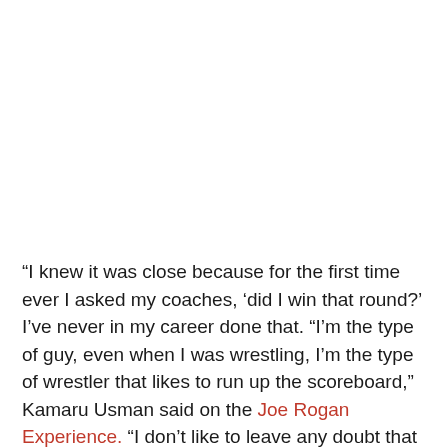“I knew it was close because for the first time ever I asked my coaches, ‘did I win that round?’ I’ve never in my career done that. “I’m the type of guy, even when I was wrestling, I’m the type of wrestler that likes to run up the scoreboard,” Kamaru Usman said on the Joe Rogan Experience. “I don’t like to leave any doubt that I won that round. I’m going to dominate that round. I’m going to make sure I won. So in my head I know I won, I don’t need to ask. For the first time in my career I went back [to my corner] and asked, ‘did I win that